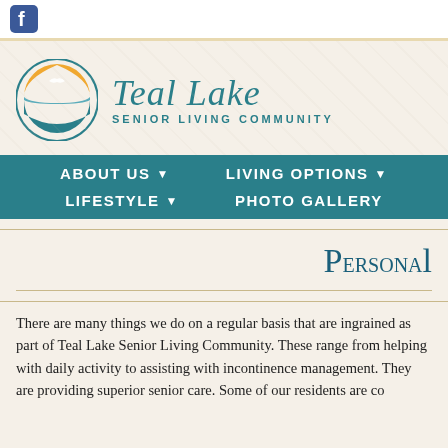[Figure (logo): Facebook logo icon in top-left corner]
[Figure (logo): Teal Lake Senior Living Community logo with circular graphic showing orange sun/bird and teal water, with italic teal text 'Teal Lake' and subtitle 'SENIOR LIVING COMMUNITY']
ABOUT US  LIVING OPTIONS  LIFESTYLE  PHOTO GALLERY
Personal
There are many things we do on a regular basis that are ingrained as part of Teal Lake Senior Living Community. These range from helping with daily activity to assisting with incontinence management. They are providing superior senior care. Some of our residents are co